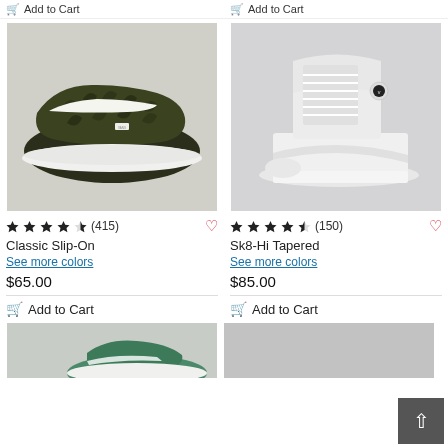Add to Cart
Add to Cart
[Figure (photo): Olive/dark floral pattern Vans Classic Slip-On sneaker on white background]
[Figure (photo): All-white high-top Vans Sk8-Hi Tapered sneaker on white background]
★★★★★ (415) Classic Slip-On
★★★★½ (150) Sk8-Hi Tapered
See more colors
See more colors
$65.00
$85.00
Add to Cart
Add to Cart
[Figure (photo): Partial view of a green/white Vans sneaker at the bottom of the page]
[Figure (photo): Partial view of a Vans sneaker on grey background at the bottom of the page]